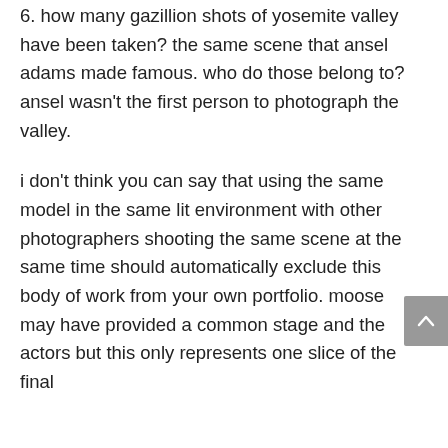6. how many gazillion shots of yosemite valley have been taken? the same scene that ansel adams made famous. who do those belong to? ansel wasn't the first person to photograph the valley.
i don't think you can say that using the same model in the same lit environment with other photographers shooting the same scene at the same time should automatically exclude this body of work from your own portfolio. moose may have provided a common stage and the actors but this only represents one slice of the final